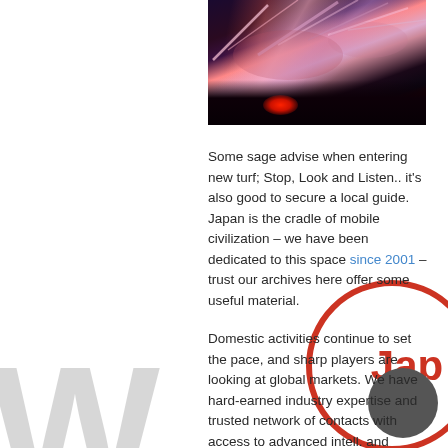[Figure (photo): Night driving photo from inside a car, showing light streaks through windshield and dark dashboard with red glow]
Some sage advise when entering new turf; Stop, Look and Listen.. it's also good to secure a local guide. Japan is the cradle of mobile civilization – we have been dedicated to this space since 2001 – trust our archives here offer some useful material.
Domestic activities continue to set the pace, and sharp players are looking at global markets. We have hard-earned industry expertise and trusted network of contacts with access to advanced intell. and potential deal flow. Need a lift. Ok, buckle up!